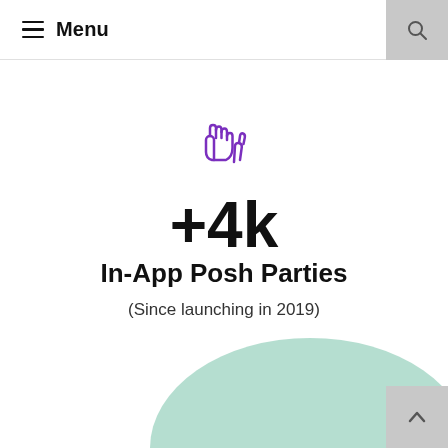☰ Menu
[Figure (illustration): Purple outline icon of two hands raised (celebration/party gesture)]
+4k
In-App Posh Parties
(Since launching in 2019)
[Figure (illustration): Mint green semicircle decorative arc at bottom of page]